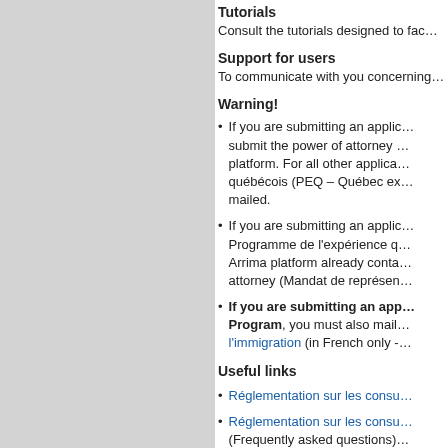Tutorials
Consult the tutorials designed to fac…
Support for users
To communicate with you concerning…
Warning!
If you are submitting an applic… submit the power of attorney … platform. For all other applica… québécois (PEQ – Québec ex… mailed.
If you are submitting an applic… Programme de l'expérience q… Arrima platform already conta… attorney (Mandat de représen…
If you are submitting an app… Program, you must also mail… l'immigration (in French only -…
Useful links
Réglementation sur les consu…
Réglementation sur les consu… (Frequently asked questions)…